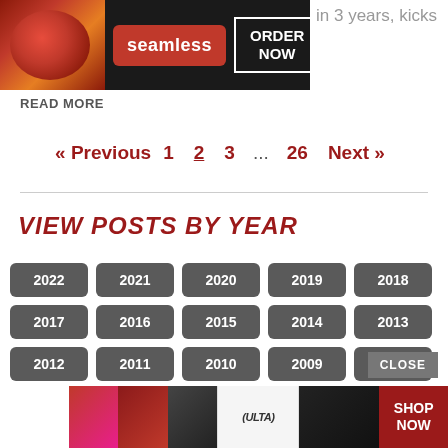[Figure (screenshot): Seamless food delivery advertisement banner with pizza image, seamless red badge, and ORDER NOW button]
in 3 years, kicks
READ MORE
« Previous   1   2   3   ...   26   Next »
VIEW POSTS BY YEAR
2022
2021
2020
2019
2018
2017
2016
2015
2014
2013
2012
2011
2010
2009
2008
2007
2006
2005
2004
2003
[Figure (screenshot): ULTA beauty advertisement banner with makeup/beauty images and SHOP NOW button]